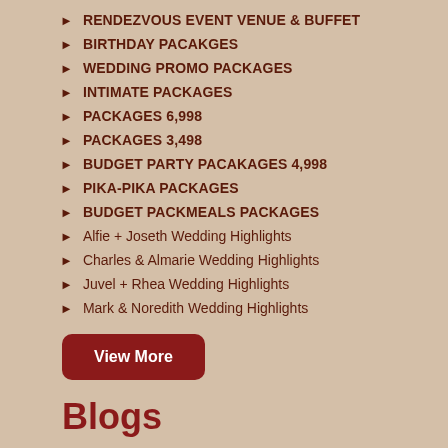RENDEZVOUS EVENT VENUE & BUFFET
BIRTHDAY PACAKGES
WEDDING PROMO PACKAGES
INTIMATE PACKAGES
PACKAGES 6,998
PACKAGES 3,498
BUDGET PARTY PACAKAGES 4,998
PIKA-PIKA PACKAGES
BUDGET PACKMEALS PACKAGES
Alfie + Joseth Wedding Highlights
Charles & Almarie Wedding Highlights
Juvel + Rhea Wedding Highlights
Mark & Noredith Wedding Highlights
View More
Blogs
Bento food pack is accepting bookings at 180 pesos only!...
PROMO ALERT 150 PAX WEDDING PACKAGE AT 188K LESS 10%...